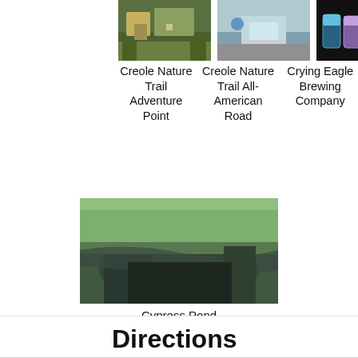[Figure (photo): Thumbnail photo of Creole Nature Trail Adventure Point]
Creole Nature Trail Adventure Point
[Figure (photo): Thumbnail photo of Creole Nature Trail All-American Road]
Creole Nature Trail All-American Road
[Figure (photo): Thumbnail photo of Crying Eagle Brewing Company beer cans]
Crying Eagle Brewing Company
[Figure (photo): Thumbnail photo of Cypress Pond with water and rocky edge]
Cypress Pond
Directions